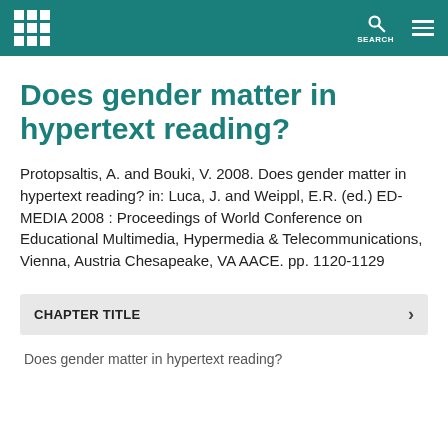SEARCH
Does gender matter in hypertext reading?
Protopsaltis, A. and Bouki, V. 2008. Does gender matter in hypertext reading? in: Luca, J. and Weippl, E.R. (ed.) ED-MEDIA 2008 : Proceedings of World Conference on Educational Multimedia, Hypermedia & Telecommunications, Vienna, Austria Chesapeake, VA AACE. pp. 1120-1129
CHAPTER TITLE
Does gender matter in hypertext reading?